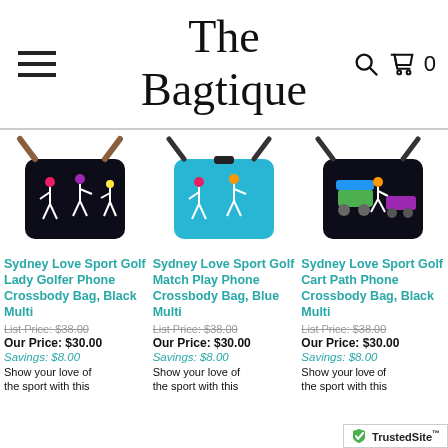The Bagtique
[Figure (photo): Product photo of Sydney Love Sport Golf Lady Golfer Phone Crossbody Bag, Black Multi — black bag with golfer figures pattern and brown strap]
Sydney Love Sport Golf Lady Golfer Phone Crossbody Bag, Black Multi
List Price: $38.00
Our Price: $30.00
Savings: $8.00
Show your love of the sport with this
[Figure (photo): Product photo of Sydney Love Sport Golf Match Play Phone Crossbody Bag, Blue Multi — blue bag with golfer figures pattern and dark strap]
Sydney Love Sport Golf Match Play Phone Crossbody Bag, Blue Multi
List Price: $38.00
Our Price: $30.00
Savings: $8.00
Show your love of the sport with this
[Figure (photo): Product photo of Sydney Love Sport Golf Cart Path Phone Crossbody Bag, Black Multi — black bag with golf cart pattern and dark strap]
Sydney Love Sport Golf Cart Path Phone Crossbody Bag, Black Multi
List Price: $38.00
Our Price: $30.00
Savings: $8.00
Show yo... of the sport with this